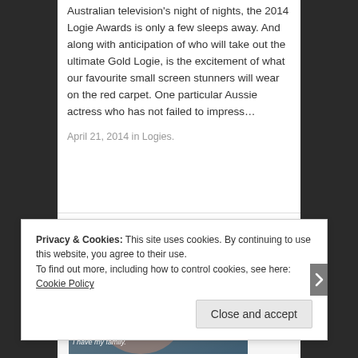Australian television's night of nights, the 2014 Logie Awards is only a few sleeps away. And along with anticipation of who will take out the ultimate Gold Logie, is the excitement of what our favourite small screen stunners will wear on the red carpet. One particular Aussie actress who has not failed to impress…
April 21, 2014 in Logies.
[Figure (photo): A woman lifting a baby, with subtitle text 'I have my daughter. I have my family.' overlaid on bottom of image]
Privacy & Cookies: This site uses cookies. By continuing to use this website, you agree to their use.
To find out more, including how to control cookies, see here: Cookie Policy